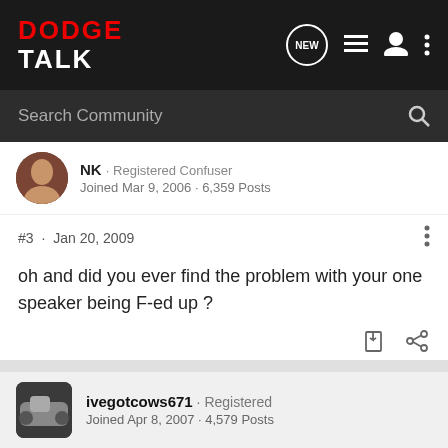[Figure (screenshot): Dodge Talk forum website navigation bar with logo, NEW button, list icon, user icon, and menu dots]
Search Community
NK · Registered Confuser
Joined Mar 9, 2006 · 6,359 Posts
#3 · Jan 20, 2009
oh and did you ever find the problem with your one speaker being F-ed up ?
ivegotcows671 · Registered
Joined Apr 8, 2007 · 4,579 Posts